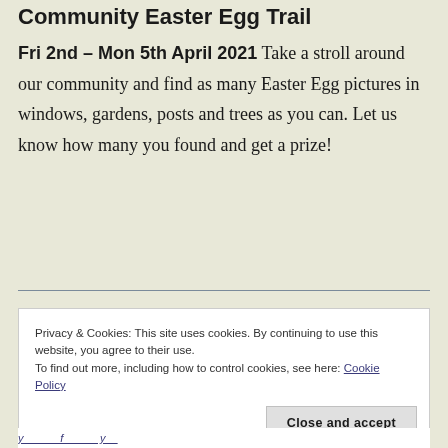Community Easter Egg Trail
Fri 2nd – Mon 5th April 2021 Take a stroll around our community and find as many Easter Egg pictures in windows, gardens, posts and trees as you can. Let us know how many you found and get a prize!
Privacy & Cookies: This site uses cookies. By continuing to use this website, you agree to their use. To find out more, including how to control cookies, see here: Cookie Policy
Close and accept